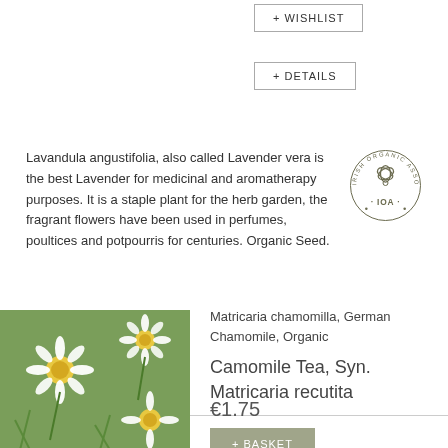+ WISHLIST
+ DETAILS
Lavandula angustifolia, also called Lavender vera is the best Lavender for medicinal and aromatherapy purposes. It is a staple plant for the herb garden, the fragrant flowers have been used in perfumes, poultices and potpourris for centuries. Organic Seed.
[Figure (logo): Irish Organic Association logo with IOA text and circular design]
[Figure (photo): Photo of German Chamomile flowers, white petals with yellow centers]
Matricaria chamomilla, German Chamomile, Organic
Camomile Tea, Syn. Matricaria recutita
€1.75
+ BASKET
+ WISHLIST
+ DETAILS